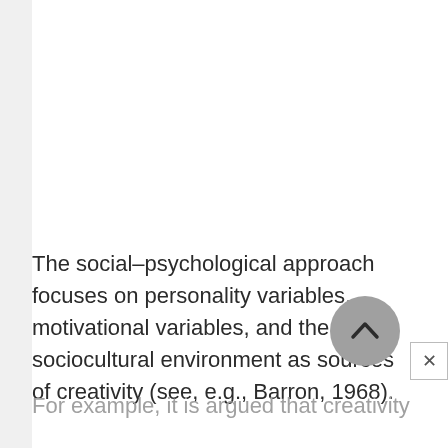The social–psychological approach focuses on personality variables, motivational variables, and the sociocultural environment as sources of creativity (see, e.g., Barron, 1968).
For example, it is argued that creativity